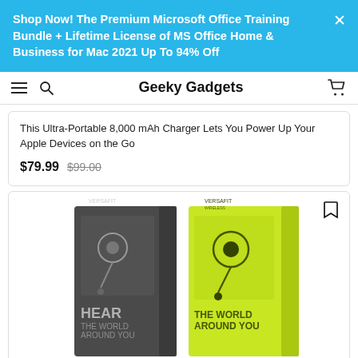Shop Now! The Premium Microsoft Office Training Bundle + Lifetime License of MS Office Home & Business for Mac 2021 Up To 94% Off
Geeky Gadgets
This Ultra-Portable 8,000 mAh Charger Lets You Power Up Your Apple Devices on the Go
$79.99  $99.00
[Figure (photo): Two Versafit wireless earbud product boxes side by side — one dark grey with text 'HEAR THE WORLD AROUND YOU' and one bright yellow-green with same text, both showing earbuds on the packaging.]